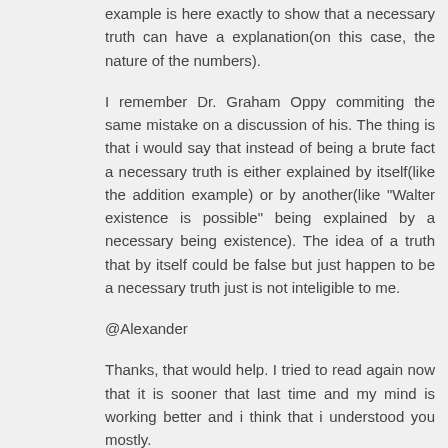example is here exactly to show that a necessary truth can have a explanation(on this case, the nature of the numbers).
I remember Dr. Graham Oppy commiting the same mistake on a discussion of his. The thing is that i would say that instead of being a brute fact a necessary truth is either explained by itself(like the addition example) or by another(like "Walter existence is possible" being explained by a necessary being existence). The idea of a truth that by itself could be false but just happen to be a necessary truth just is not inteligible to me.
@Alexander
Thanks, that would help. I tried to read again now that it is sooner that last time and my mind is working better and i think that i understood you mostly.
My dificult would be in your first comment were you comment this: